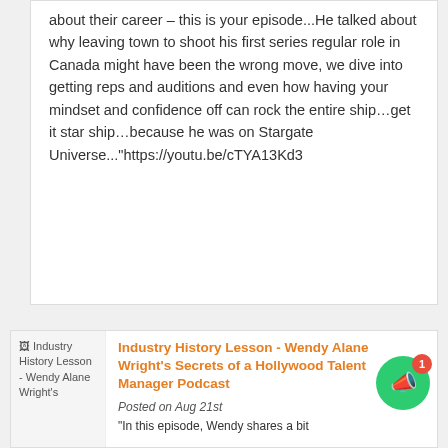about their career – this is your episode...He talked about why leaving town to shoot his first series regular role in Canada might have been the wrong move, we dive into getting reps and auditions and even how having your mindset and confidence off can rock the entire ship…get it star ship…because he was on Stargate Universe..."https://youtu.be/cTYA13Kd3
[Figure (photo): Thumbnail image for Industry History Lesson - Wendy Alane Wright's Secrets of a Hollywood Talent Manager Podcast]
Industry History Lesson - Wendy Alane Wright's Secrets of a Hollywood Talent Manager Podcast
Posted on Aug 21st
"In this episode, Wendy shares a bit